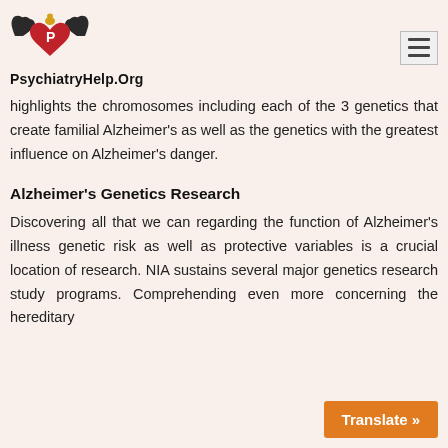[Figure (logo): PsychiatryHelp.Org logo with winged heart and mortar symbol]
PsychiatryHelp.Org
highlights the chromosomes including each of the 3 genetics that create familial Alzheimer's as well as the genetics with the greatest influence on Alzheimer's danger.
Alzheimer's Genetics Research
Discovering all that we can regarding the function of Alzheimer's illness genetic risk as well as protective variables is a crucial location of research. NIA sustains several major genetics research study programs. Comprehending even more concerning the hereditary